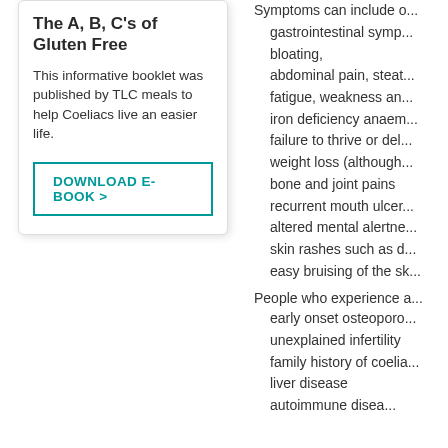The A, B, C's of Gluten Free
This informative booklet was published by TLC meals to help Coeliacs live an easier life.
DOWNLOAD E-BOOK >
Symptoms can include o...
gastrointestinal symp... bloating,
abdominal pain, steat...
fatigue, weakness an...
iron deficiency anaem...
failure to thrive or del...
weight loss (although...
bone and joint pains
recurrent mouth ulcer...
altered mental alertne...
skin rashes such as d...
easy bruising of the sk...
People who experience a...
early onset osteoporo...
unexplained infertility
family history of coelia...
liver disease
autoimmune disea...